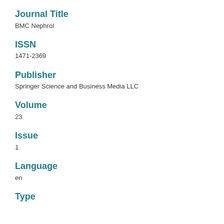Journal Title
BMC Nephrol
ISSN
1471-2369
Publisher
Springer Science and Business Media LLC
Volume
23
Issue
1
Language
en
Type